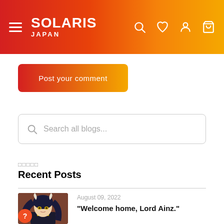SOLARIS JAPAN
Post your comment
Search all blogs...
□□□□□
Recent Posts
August 09, 2022
"Welcome home, Lord Ainz."
[Figure (photo): Thumbnail image of an anime figure with dark hair and white horns against a brown background]